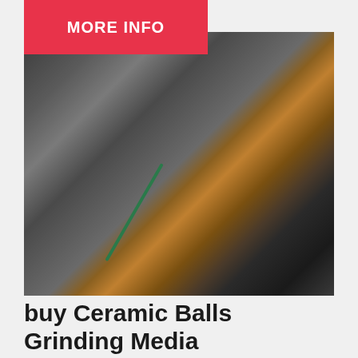MORE INFO
[Figure (photo): Close-up photo of an industrial grinding machine showing black hydraulic hoses, metal fittings, an amber/orange lubricant bottle, a green cable, and a dark grinding wheel or drum in the background.]
buy Ceramic Balls Grinding Media
Ceramic Balls Grinding Media trade offers directory and Ceramic Balls Grinding Media business offers list